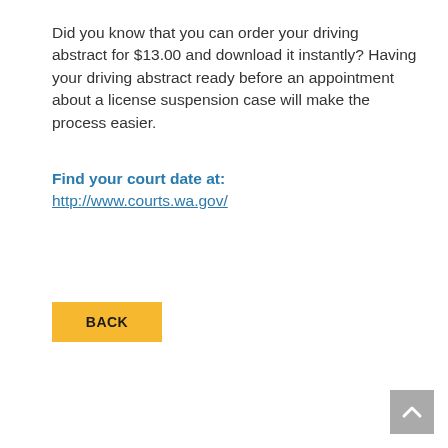Did you know that you can order your driving abstract for $13.00 and download it instantly? Having your driving abstract ready before an appointment about a license suspension case will make the process easier.
Find your court date at: http://www.courts.wa.gov/
[Figure (other): Yellow BACK button]
[Figure (other): Gray scroll-to-top arrow button in bottom right corner]